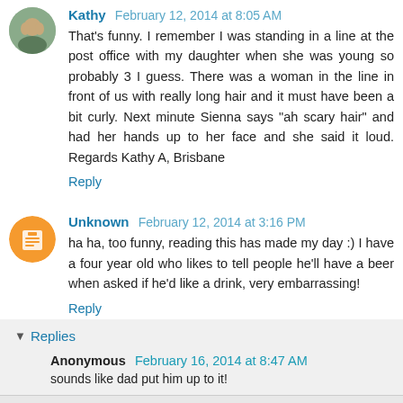Kathy February 12, 2014 at 8:05 AM
That's funny. I remember I was standing in a line at the post office with my daughter when she was young so probably 3 I guess. There was a woman in the line in front of us with really long hair and it must have been a bit curly. Next minute Sienna says "ah scary hair" and had her hands up to her face and she said it loud. Regards Kathy A, Brisbane
Reply
Unknown February 12, 2014 at 3:16 PM
ha ha, too funny, reading this has made my day :) I have a four year old who likes to tell people he'll have a beer when asked if he'd like a drink, very embarrassing!
Reply
Replies
Anonymous February 16, 2014 at 8:47 AM
sounds like dad put him up to it!